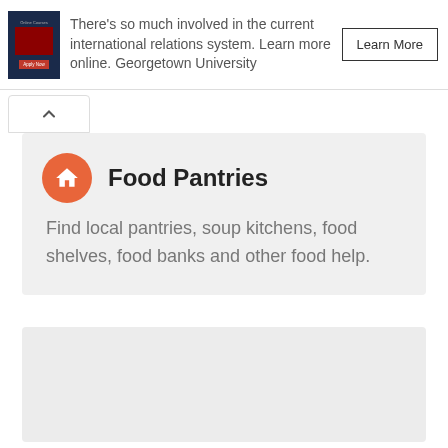There's so much involved in the current international relations system. Learn more online. Georgetown University
[Figure (screenshot): Ad banner with Georgetown University online course image, text, and Learn More button]
Food Pantries
Find local pantries, soup kitchens, food shelves, food banks and other food help.
[Figure (other): Empty grey content area below the Food Pantries card]